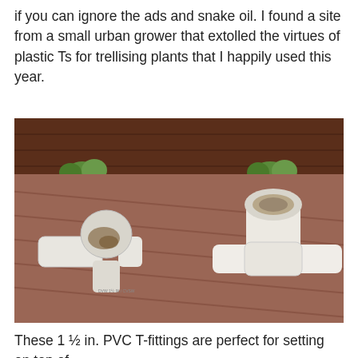if you can ignore the ads and snake oil. I found a site from a small urban grower that extolled the virtues of plastic Ts for trellising plants that I happily used this year.
[Figure (photo): Two white PVC T-fittings (1.5 inch) placed on a wooden deck surface. The left fitting is upside-down showing dirt/wear on the cap end, the right fitting shows the open top of the T. In the background is a dark brown wooden fence/wall with green plant foliage visible at the gaps.]
These 1 ½ in. PVC T-fittings are perfect for setting on top of